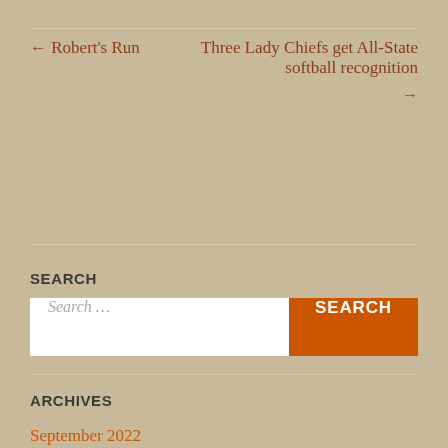← Robert's Run
Three Lady Chiefs get All-State softball recognition →
SEARCH
Search ...
ARCHIVES
September 2022